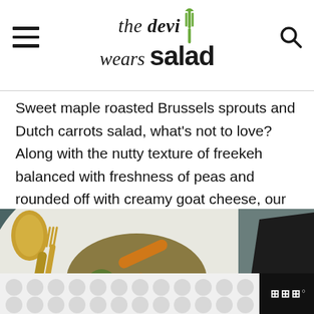the devi wears salad
Sweet maple roasted Brussels sprouts and Dutch carrots salad, what's not to love? Along with the nutty texture of freekeh balanced with freshness of peas and rounded off with creamy goat cheese, our warm Brussels sprouts salad is insanely flavoursome.
[Figure (photo): A white plate with warm Brussels sprouts salad featuring roasted carrots, freekeh, peas, on a dark teal background with a black napkin and gold spoon beside it.]